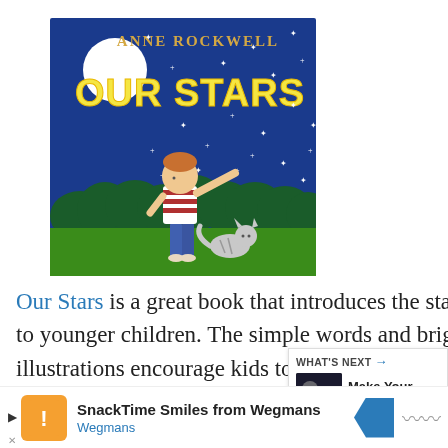[Figure (illustration): Book cover of 'Our Stars' by Anne Rockwell. Dark blue night sky with white stars, a full white moon in upper left, yellow bubble text 'OUR STARS' and 'ANNE ROCKWELL' at top. A red-haired boy in striped shirt and blue jeans points upward at the stars, standing next to a gray tabby cat, with a dark green treeline silhouette in the background and green grass below.]
Our Stars is a great book that introduces the stars to younger children. The simple words and bright illustrations encourage kids to look up and pay more attention to the night sky. Great for
[Figure (screenshot): WHAT'S NEXT panel showing a thumbnail and the text 'Make Your Own...' with an arrow indicator]
SnackTime Smiles from Wegmans Wegmans